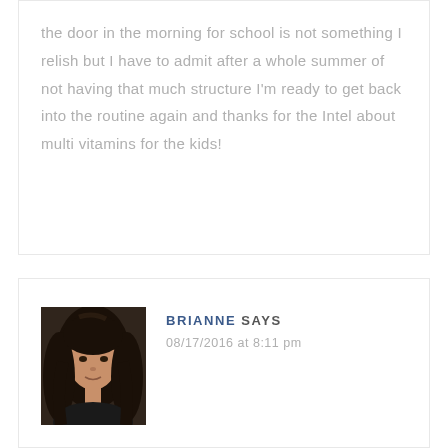the door in the morning for school is not something I relish but I have to admit after a whole summer of not having that much structure I'm ready to get back into the routine again and thanks for the Intel about multi vitamins for the kids!
BRIANNE SAYS
08/17/2016 at 8:11 pm
[Figure (photo): Portrait photo of a woman with long brown hair]
Ahhhh the one thing I am dreading